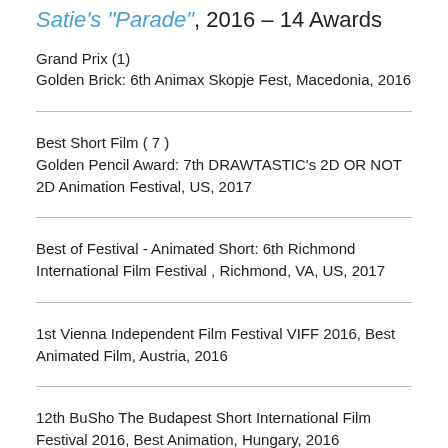Satie's "Parade", 2016 – 14 Awards
Grand Prix (1)
Golden Brick: 6th Animax Skopje Fest, Macedonia, 2016
Best Short Film ( 7 )
Golden Pencil Award: 7th DRAWTASTIC's 2D OR NOT 2D Animation Festival, US, 2017
Best of Festival - Animated Short: 6th Richmond International Film Festival , Richmond, VA, US, 2017
1st Vienna Independent Film Festival VIFF 2016, Best Animated Film, Austria, 2016
12th BuSho The Budapest Short International Film Festival 2016, Best Animation, Hungary, 2016